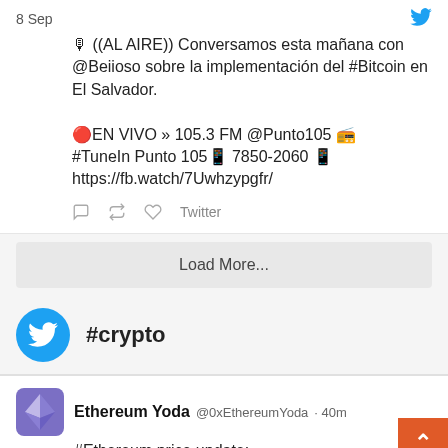8 Sep
🎙 ((AL AIRE)) Conversamos esta mañana con @Beiioso sobre la implementación del #Bitcoin en El Salvador.

🔴EN VIVO » 105.3 FM @Punto105 📻 #TuneIn Punto 105📱 7850-2060 📱 https://fb.watch/7Uwhzypgfr/
Twitter
Load More...
#crypto
Ethereum Yoda @0xEthereumYoda · 40m
#Ethereum price update: